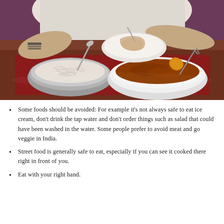[Figure (photo): A person eating Indian food at a restaurant table. Two metal/white bowls are visible — one with rice and one with a curry dish. A piece of naan/flatbread is on a plate. The person is wearing a white shirt and bracelets, using utensils. The scene has a warm, dimly lit ambiance.]
Some foods should be avoided: For example it's not always safe to eat ice cream, don't drink the tap water and don't order things such as salad that could have been washed in the water. Some people prefer to avoid meat and go veggie in India.
Street food is generally safe to eat, especially if you can see it cooked there right in front of you.
Eat with your right hand.